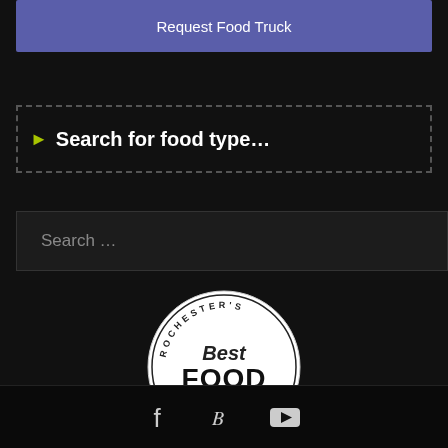Request Food Truck
Search for food type…
Search …
[Figure (logo): Rochester's Best Food Trucks circular logo with food truck icon]
Social media icons: Facebook, Twitter, YouTube